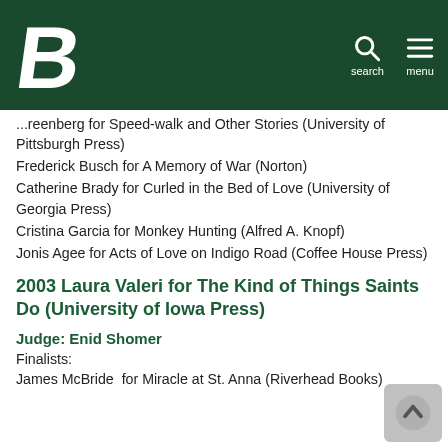Binghamton University logo, search, menu
Greenberg for Speed-walk and Other Stories (University of Pittsburgh Press)
Frederick Busch for A Memory of War (Norton)
Catherine Brady for Curled in the Bed of Love (University of Georgia Press)
Cristina Garcia for Monkey Hunting (Alfred A. Knopf)
Jonis Agee for Acts of Love on Indigo Road (Coffee House Press)
2003 Laura Valeri for The Kind of Things Saints Do (University of Iowa Press)
Judge: Enid Shomer
Finalists:
James McBride for Miracle at St. Anna (Riverhead Books)